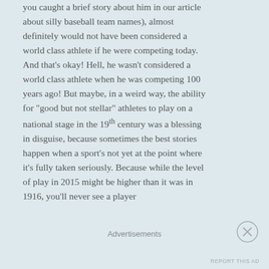you caught a brief story about him in our article about silly baseball team names), almost definitely would not have been considered a world class athlete if he were competing today.  And that's okay!  Hell, he wasn't considered a world class athlete when he was competing 100 years ago!  But maybe, in a weird way, the ability for "good but not stellar" athletes to play on a national stage in the 19th century was a blessing in disguise, because sometimes the best stories happen when a sport's not yet at the point where it's fully taken seriously.  Because while the level of play in 2015 might be higher than it was in 1916, you'll never see a player
Advertisements